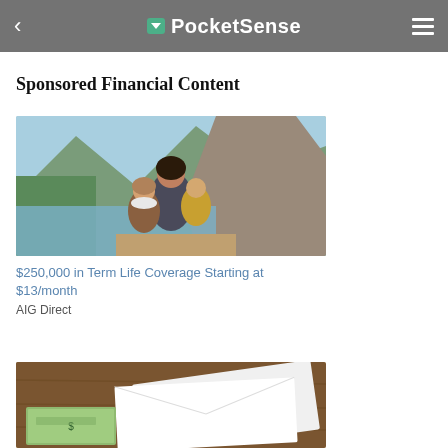PocketSense
Sponsored Financial Content
[Figure (photo): Mother kissing two children outdoors near a lake with mountains in background]
$250,000 in Term Life Coverage Starting at $13/month
AIG Direct
[Figure (photo): Envelopes and cash money on a wooden table surface (partial view)]